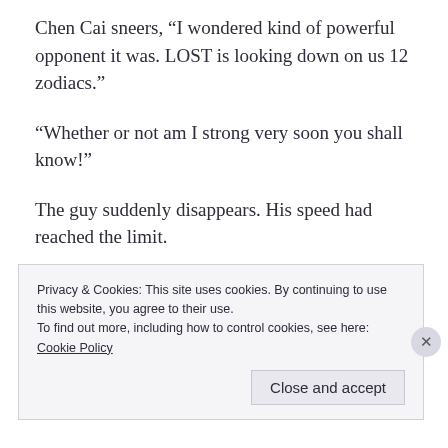Chen Cai sneers, “I wondered kind of powerful opponent it was. LOST is looking down on us 12 zodiacs.”
“Whether or not am I strong very soon you shall know!”
The guy suddenly disappears. His speed had reached the limit.
Privacy & Cookies: This site uses cookies. By continuing to use this website, you agree to their use.
To find out more, including how to control cookies, see here:
Cookie Policy
Close and accept